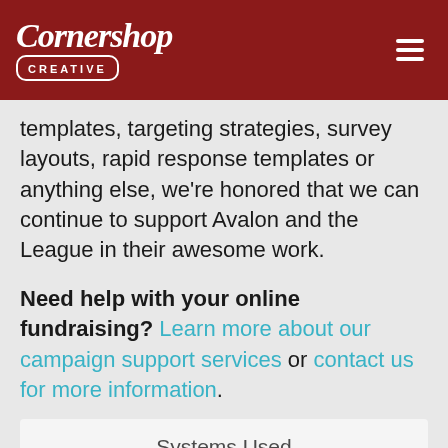Cornershop Creative
templates, targeting strategies, survey layouts, rapid response templates or anything else, we're honored that we can continue to support Avalon and the League in their awesome work.
Need help with your online fundraising? Learn more about our campaign support services or contact us for more information.
Systems Used
Services Provided